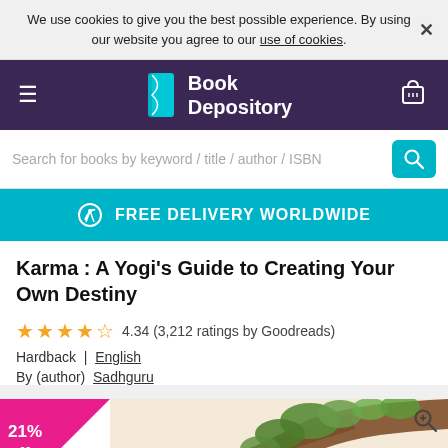We use cookies to give you the best possible experience. By using our website you agree to our use of cookies.
[Figure (logo): Book Depository logo with teal book icon and white text on dark purple navbar]
Search for books by keyword / title / author / ISBN
FREE DELIVERY WORLDWIDE
Karma : A Yogi's Guide to Creating Your Own Destiny
4.34 (3,212 ratings by Goodreads)
Hardback  |  English
By (author)  Sadhguru
[Figure (photo): Book cover for Karma: A Yogi's Guide to Creating Your Own Destiny showing illustrated tree branches with foliage and a yellow element; a 21% off triangular pink badge in the top left corner]